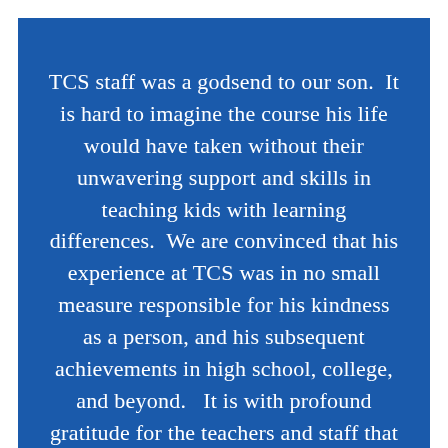TCS staff was a godsend to our son.  It is hard to imagine the course his life would have taken without their unwavering support and skills in teaching kids with learning differences.  We are convinced that his experience at TCS was in no small measure responsible for his kindness as a person, and his subsequent achievements in high school, college, and beyond.   It is with profound gratitude for the teachers and staff that we support their ongoing mission to prepare kids in